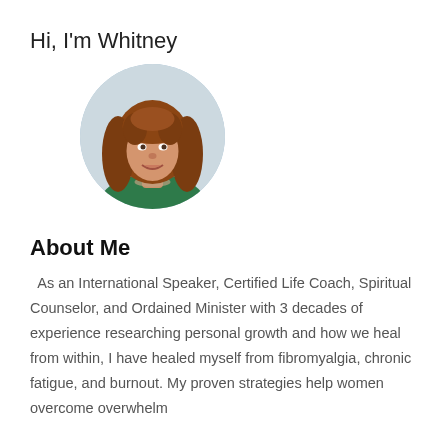Hi, I'm Whitney
[Figure (photo): Circular portrait photo of Whitney, a woman with curly reddish-brown hair, smiling, wearing a green top and beaded necklace, with a light blue/grey background.]
About Me
As an International Speaker, Certified Life Coach, Spiritual Counselor, and Ordained Minister with 3 decades of experience researching personal growth and how we heal from within, I have healed myself from fibromyalgia, chronic fatigue, and burnout. My proven strategies help women overcome overwhelm